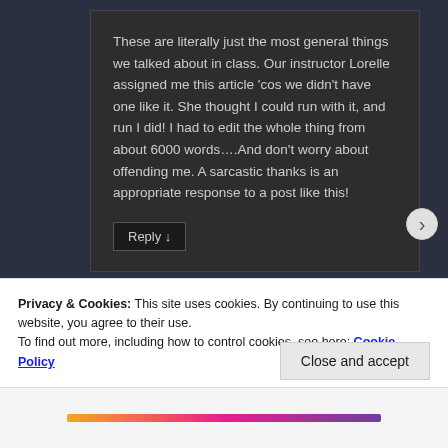These are literally just the most general things we talked about in class. Our instructor Lorelle assigned me this article 'cos we didn't have one like it. She thought I could run with it, and run I did! I had to edit the whole thing from about 6000 words….And don't worry about offending me. A sarcastic thanks is an appropriate response to a post like this!
Reply ↓
Privacy & Cookies: This site uses cookies. By continuing to use this website, you agree to their use.
To find out more, including how to control cookies, see here: Cookie Policy
Close and accept